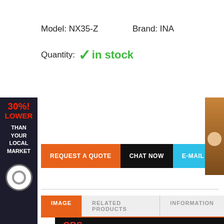Model: NX35-Z     Brand: INA
Quantity: ✓ in stock
[Figure (infographic): Left side banner: dark background with red text '30%! LOWER' and white text 'THAN YOUR LOCAL MARKET' and a bearing icon at the bottom]
[Figure (photo): Right side banner: small brown/tan colored chat agent photo thumbnail]
REQUEST A QUOTE | CHAT NOW | E-MAIL
IMAGE   RELATED PRODUCTS   INFORMATION
[Figure (logo): GBS BEARING - FOCUS ON QUALITY. Improve work accuracy and increase production efficiency. Quality assurance, long warranty, no worries.]